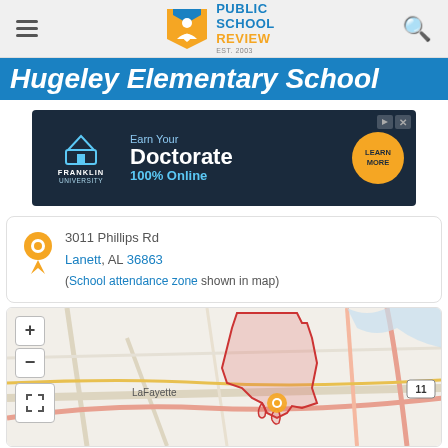Public School Review — EST. 2003
Hugeley Elementary School
[Figure (screenshot): Franklin University advertisement banner: Earn Your Doctorate 100% Online, with Learn More button]
3011 Phillips Rd
Lanett, AL 36863
(School attendance zone shown in map)
[Figure (map): Interactive map showing school attendance zone for Hugeley Elementary School near Lanett, AL. Map shows LaFayette area with red boundary marking the school zone, and a location pin. Map has zoom controls (+/-) and expand button.]